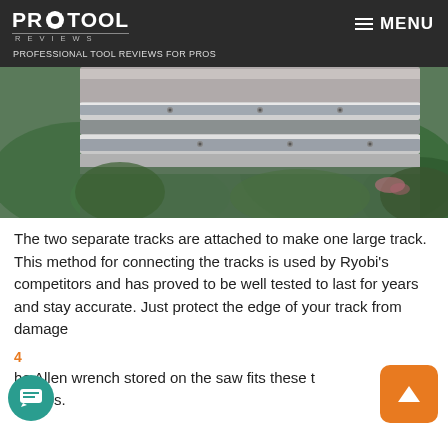PRO TOOL REVIEWS — PROFESSIONAL TOOL REVIEWS FOR PROS | MENU
[Figure (photo): Close-up photo of two parallel aluminum track rails attached together, with visible screws/bolts, against a blurred green foliage background.]
The two separate tracks are attached to make one large track. This method for connecting the tracks is used by Ryobi's competitors and has proved to be well tested to last for years and stay accurate. Just protect the edge of your track from damage
4
he Allen wrench stored on the saw fits these t clamps.